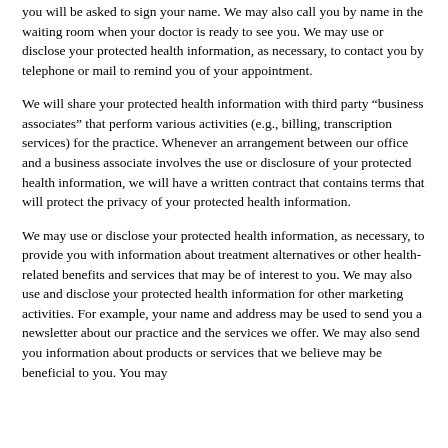you will be asked to sign your name. We may also call you by name in the waiting room when your doctor is ready to see you. We may use or disclose your protected health information, as necessary, to contact you by telephone or mail to remind you of your appointment.
We will share your protected health information with third party "business associates" that perform various activities (e.g., billing, transcription services) for the practice. Whenever an arrangement between our office and a business associate involves the use or disclosure of your protected health information, we will have a written contract that contains terms that will protect the privacy of your protected health information.
We may use or disclose your protected health information, as necessary, to provide you with information about treatment alternatives or other health-related benefits and services that may be of interest to you. We may also use and disclose your protected health information for other marketing activities. For example, your name and address may be used to send you a newsletter about our practice and the services we offer. We may also send you information about products or services that we believe may be beneficial to you. You may